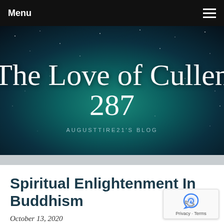Menu
[Figure (illustration): Blog header banner with night sky / galaxy background. White cursive text reads 'The Love of Cullen 287' with subtitle 'AUGUSTTIRE21'S BLOG' in spaced capital letters below.]
Spiritual Enlightenment In Buddhism
October 13, 2020
[Figure (logo): Google reCAPTCHA badge showing recycling-arrows icon in blue and gray, with 'Privacy · Terms' text below.]